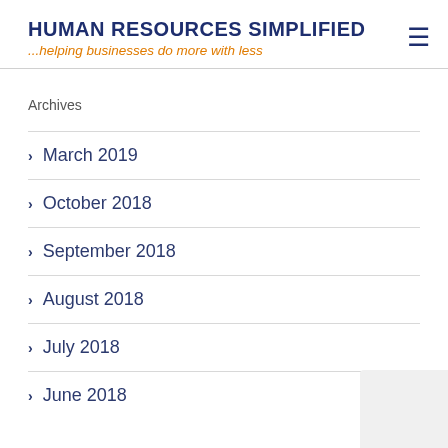HUMAN RESOURCES SIMPLIFIED
...helping businesses do more with less
Archives
March 2019
October 2018
September 2018
August 2018
July 2018
June 2018